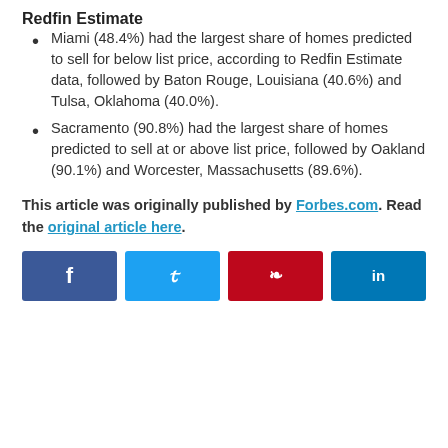Redfin Estimate
Miami (48.4%) had the largest share of homes predicted to sell for below list price, according to Redfin Estimate data, followed by Baton Rouge, Louisiana (40.6%) and Tulsa, Oklahoma (40.0%).
Sacramento (90.8%) had the largest share of homes predicted to sell at or above list price, followed by Oakland (90.1%) and Worcester, Massachusetts (89.6%).
This article was originally published by Forbes.com. Read the original article here.